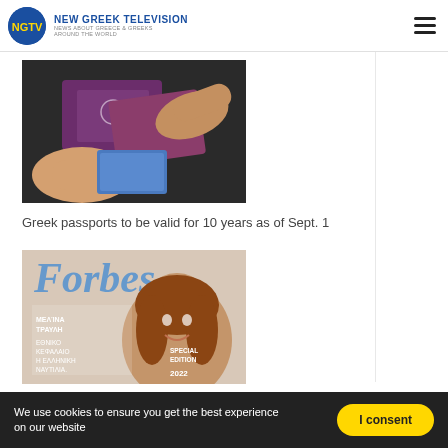NEW GREEK TELEVISION — NEWS ABOUT GREECE & GREEKS AROUND THE WORLD
[Figure (photo): Hands holding Greek passports]
Greek passports to be valid for 10 years as of Sept. 1
[Figure (photo): Forbes magazine cover featuring a woman, with Greek text and SPECIAL EDITION label]
John Kerry meets with president of the Union of Greek Shipowners
We use cookies to ensure you get the best experience on our website